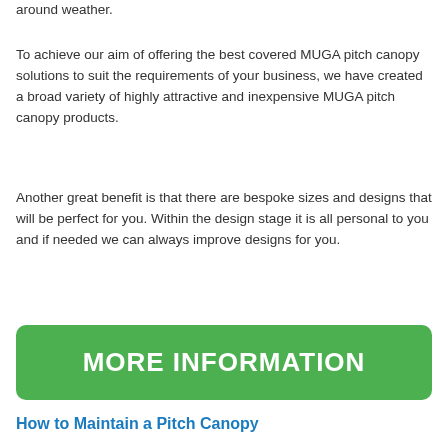around weather.
To achieve our aim of offering the best covered MUGA pitch canopy solutions to suit the requirements of your business, we have created a broad variety of highly attractive and inexpensive MUGA pitch canopy products.
Another great benefit is that there are bespoke sizes and designs that will be perfect for you. Within the design stage it is all personal to you and if needed we can always improve designs for you.
[Figure (other): Green rounded button with white bold text reading MORE INFORMATION]
How to Maintain a Pitch Canopy
The maintenance of your MUGA pitch canopy in Billesley is key to ensuring that it lasts for as long as possible whilst looking as clean and vibrant for the longest time possible. This is very beneficial as it ensures many different advantages to both the owner of the facility and the players using the facility.